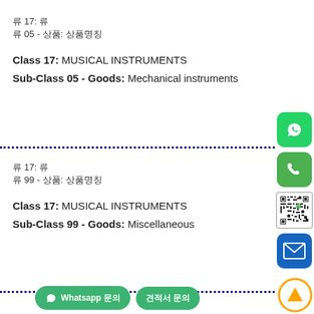류 17: 류
류 05 - 상품: 상품명칭
Class 17: MUSICAL INSTRUMENTS
Sub-Class 05 - Goods: Mechanical instruments
류 17: 류
류 99 - 상품: 상품명칭
Class 17: MUSICAL INSTRUMENTS
Sub-Class 99 - Goods: Miscellaneous
[Figure (screenshot): WhatsApp green icon, phone icon, QR code, email icon on right side panel]
[Figure (screenshot): Bottom bar with Whatsapp button and secondary button, and orange up arrow button]